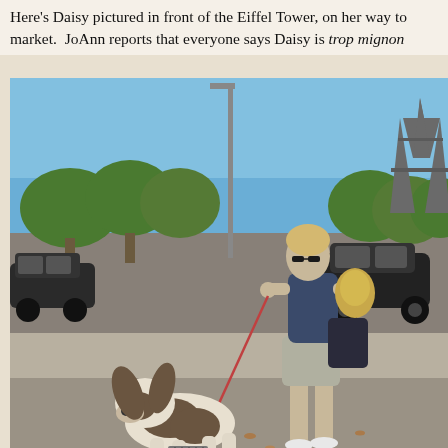Here's Daisy pictured in front of the Eiffel Tower, on her way to market. JoAnn reports that everyone says Daisy is trop mignon
[Figure (photo): A woman walking a small dog (Daisy) on a leash on a sidewalk in Paris, with the Eiffel Tower visible in the background. The woman is wearing a blue top, grey shorts, sunglasses, and white sneakers, carrying a handbag and flowers. The dog is a small spaniel-type breed. Cars and trees are visible in the background under a clear blue sky.]